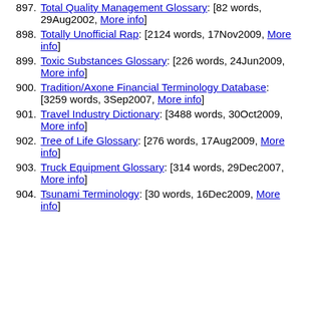897. Total Quality Management Glossary: [82 words, 29Aug2002, More info]
898. Totally Unofficial Rap: [2124 words, 17Nov2009, More info]
899. Toxic Substances Glossary: [226 words, 24Jun2009, More info]
900. Tradition/Axone Financial Terminology Database: [3259 words, 3Sep2007, More info]
901. Travel Industry Dictionary: [3488 words, 30Oct2009, More info]
902. Tree of Life Glossary: [276 words, 17Aug2009, More info]
903. Truck Equipment Glossary: [314 words, 29Dec2007, More info]
904. Tsunami Terminology: [30 words, 16Dec2009, More info]